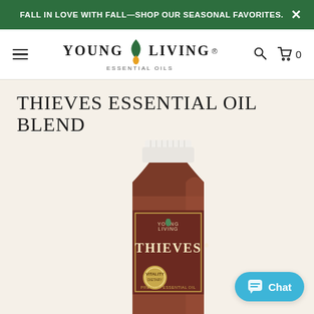FALL IN LOVE WITH FALL—SHOP OUR SEASONAL FAVORITES.
[Figure (logo): Young Living Essential Oils logo with green flame/leaf icon and gold drop icon between the words YOUNG and LIVING, with ESSENTIAL OILS subtitle]
THIEVES ESSENTIAL OIL BLEND
[Figure (photo): Young Living Thieves Essential Oil Blend bottle — amber glass bottle with white ribbed cap and dark red label showing YOUNG LIVING THIEVES PREMIUM ESSENTIAL OIL with gold seal]
Chat